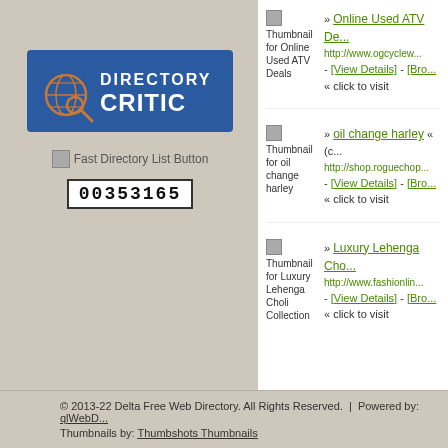[Figure (logo): Directory Critic logo - blue rectangle with globe/magnifier icon and white bold text]
[Figure (other): Fast Directory List Button image]
00353165
» Online Used ATV De... http://www.ogcyclew... - [View Details] - [Bro... « click to visit
» oil change harley « (c... http://shop.roguechop... - [View Details] - [Bro... « click to visit
» Luxury Lehenga Cho... http://www.fashionlin... - [View Details] - [Bro... « click to visit
© 2013-22 Delta Free Web Directory. All Rights Reserved. | Powered by: qlWebD... Thumbnails by: Thumbshots Thumbnails